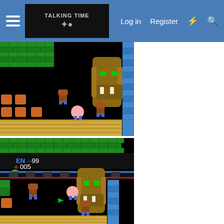Log in  Register
[Figure (screenshot): NES-style video game screenshot showing a top-down dungeon scene with green brick walls, black floor, a large lion/boss head on the right side, small brown enemy characters, a small round player character, and a yellow/tan floor at the bottom. Blue brick border on the right.]
[Figure (screenshot): NES-style video game screenshot showing top portion with green brick walls and HUD displaying EN 99 and heart icon 005, plus a lower dungeon scene with the same lion/boss head, player character, enemies, and yellow floor at bottom. Blue brick border on the right.]